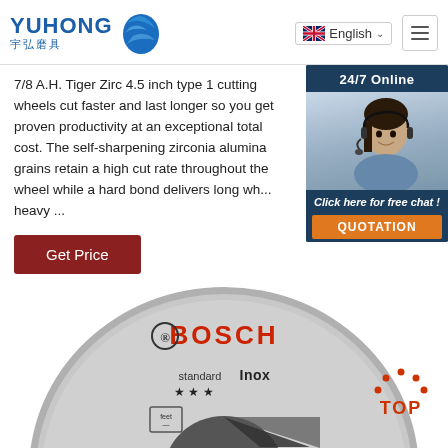YUHONG 宇弘磨具 | English | Menu
7/8 A.H. Tiger Zirc 4.5 inch type 1 cutting wheels cut faster and last longer so you get proven productivity at an exceptional total cost. The self-sharpening zirconia alumina grains retain a high cut rate throughout the wheel while a hard bond delivers long wh... heavy ...
Get Price
[Figure (photo): Chat widget with 24/7 Online agent photo, Click here for free chat, QUOTATION button]
[Figure (photo): Bosch Standard for Inox cutting disc product image, circular disc photographed from above]